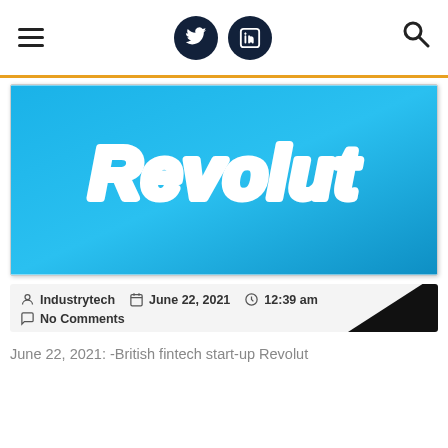Navigation bar with hamburger menu, Twitter icon, LinkedIn icon, and search icon
[Figure (logo): Revolut logo on a blue gradient background]
Industrytech  June 22, 2021  12:39 am  No Comments
June 22, 2021: -British fintech start-up Revolut